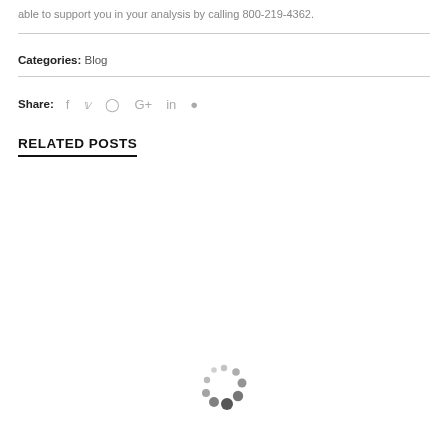able to support you in your analysis by calling 800-219-4362.
Categories: Blog
Share: f  twitter  pinterest  G+  in  reddit
RELATED POSTS
[Figure (other): Loading spinner animation dots in circular arrangement]